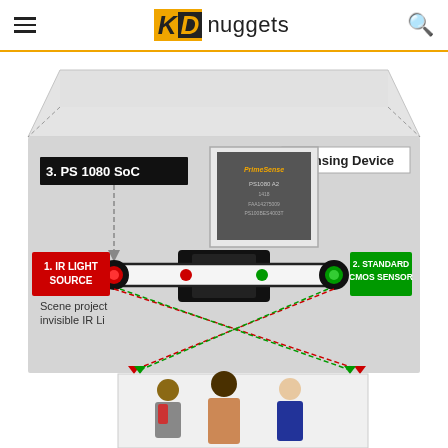KDnuggets
[Figure (schematic): Engineering diagram of a PrimeSense sensing device showing: 1. IR Light Source (red label, left), 2. Standard CMOS Sensor (green label, right), 3. PS 1080 SoC (black label, top-left with chip image). A monitor/sensor bar connects the IR source and CMOS sensor. Dotted arrows show the light projection path to a scene with three people below. Caption text: 'Scene project invisible IR Li'. Label 'Sensing Device' in top-right corner. Red and green dotted lines cross between the sensor bar and the people scene below.]